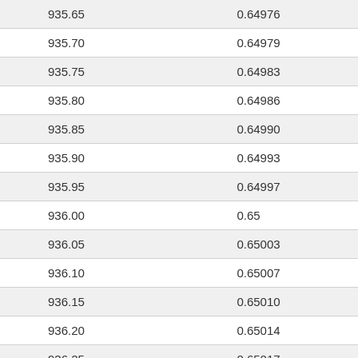| 935.65 | 0.64976 |
| 935.70 | 0.64979 |
| 935.75 | 0.64983 |
| 935.80 | 0.64986 |
| 935.85 | 0.64990 |
| 935.90 | 0.64993 |
| 935.95 | 0.64997 |
| 936.00 | 0.65 |
| 936.05 | 0.65003 |
| 936.10 | 0.65007 |
| 936.15 | 0.65010 |
| 936.20 | 0.65014 |
| 936.25 | 0.65017 |